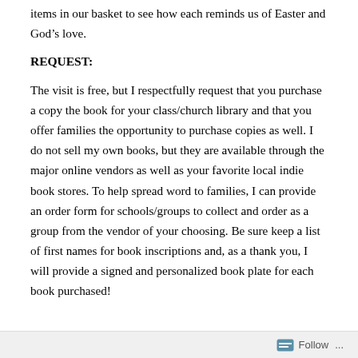items in our basket to see how each reminds us of Easter and God's love.
REQUEST:
The visit is free, but I respectfully request that you purchase a copy the book for your class/church library and that you offer families the opportunity to purchase copies as well. I do not sell my own books, but they are available through the major online vendors as well as your favorite local indie book stores. To help spread word to families, I can provide an order form for schools/groups to collect and order as a group from the vendor of your choosing. Be sure keep a list of first names for book inscriptions and, as a thank you, I will provide a signed and personalized book plate for each book purchased!
Follow ...